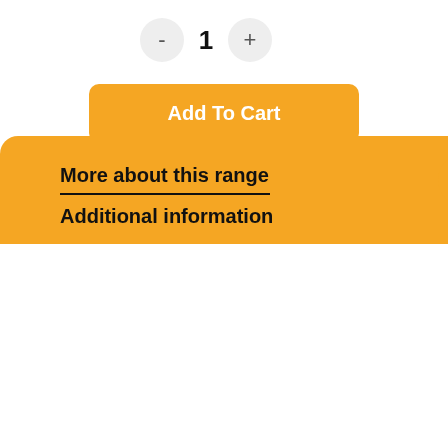[Figure (other): Quantity selector with minus button, number 1, and plus button]
Add To Cart
Part No: T9000
Category: Respons TMS
More about this range
Additional information